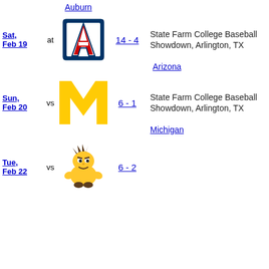Auburn
Sat, Feb 19 at Arizona — 14 - 4 — State Farm College Baseball Showdown, Arlington, TX
Arizona
Sun, Feb 20 vs Michigan — 6 - 1 — State Farm College Baseball Showdown, Arlington, TX
Michigan
Tue, Feb 22 vs [Wichita State] — 6 - 2